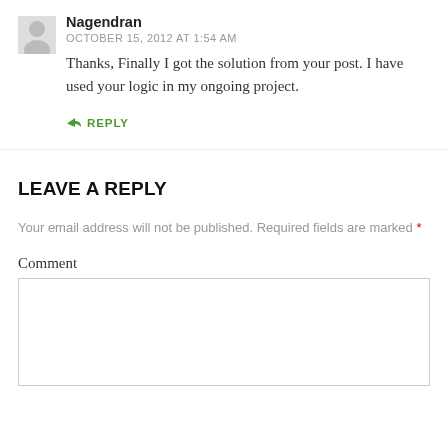Nagendran
OCTOBER 15, 2012 AT 1:54 AM
Thanks, Finally I got the solution from your post. I have used your logic in my ongoing project.
↳ REPLY
LEAVE A REPLY
Your email address will not be published. Required fields are marked *
Comment